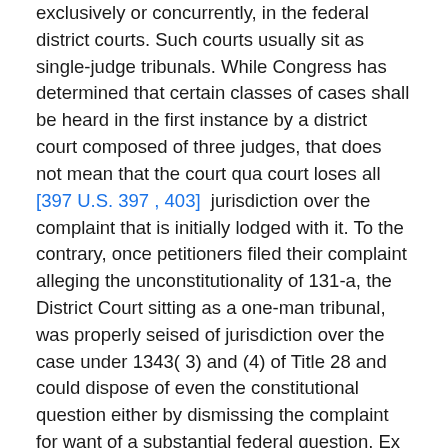exclusively or concurrently, in the federal district courts. Such courts usually sit as single-judge tribunals. While Congress has determined that certain classes of cases shall be heard in the first instance by a district court composed of three judges, that does not mean that the court qua court loses all [397 U.S. 397 , 403] jurisdiction over the complaint that is initially lodged with it. To the contrary, once petitioners filed their complaint alleging the unconstitutionality of 131-a, the District Court sitting as a one-man tribunal, was properly seised of jurisdiction over the case under 1343( 3) and (4) of Title 28 and could dispose of even the constitutional question either by dismissing the complaint for want of a substantial federal question, Ex parte Poresky, 290 U.S. 30 ( 1933),3 or by granting requested injunctive relief if 'prior decisions ( made) frivolous any claim that (the) state statute on its face (was) not unconstitutional.' Bailey v. Patterson, 369 U.S. 31, 33 , 551 (1962). Even had the constitutional claim not been declared moot, the most appropriate course